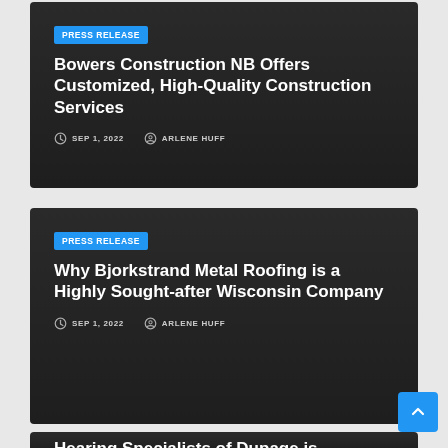PRESS RELEASE
Bowers Construction NB Offers Customized, High-Quality Construction Services
SEP 1, 2022   ARLENE HUFF
PRESS RELEASE
Why Bjorkstrand Metal Roofing is a Highly Sought-after Wisconsin Company
SEP 1, 2022   ARLENE HUFF
Hearing Specialists of Dupage is Naperville's